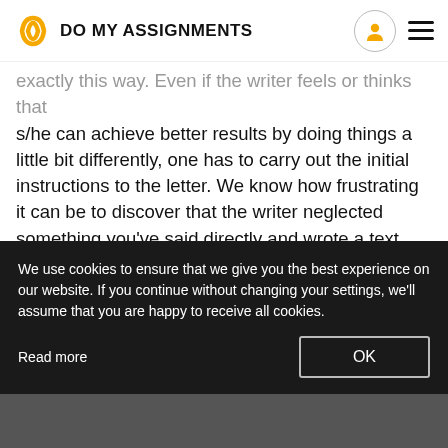DO MY ASSIGNMENTS
exactly this way. Even if the writer feels or thinks that s/he can achieve better results by doing things a little bit differently, one has to carry out the initial instructions to the letter. We know how frustrating it can be to discover that the writer neglected something you've said directly and wrote a text that is at odds with what you have paid for. This is why when you place an order with our s[...], you have to be very straightforward about what [...] want us to do. Provide all the guidelines and instru[...]
We use cookies to ensure that we give you the best experience on our website. If you continue without changing your settings, we'll assume that you are happy to receive all cookies.
Read more
OK